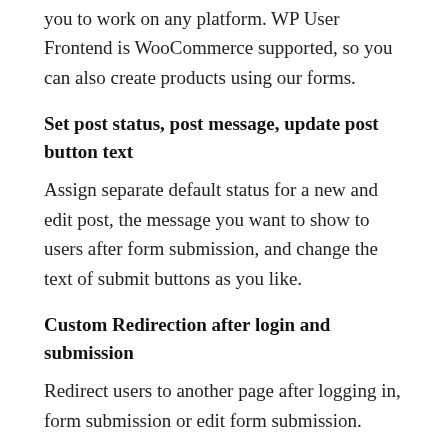you to work on any platform. WP User Frontend is WooCommerce supported, so you can also create products using our forms.
Set post status, post message, update post button text
Assign separate default status for a new and edit post, the message you want to show to users after form submission, and change the text of submit buttons as you like.
Custom Redirection after login and submission
Redirect users to another page after logging in, form submission or edit form submission.
Earn with subscription based posting
Create subscription packs to take “Pay Per Post” payments. Submissions posted via these